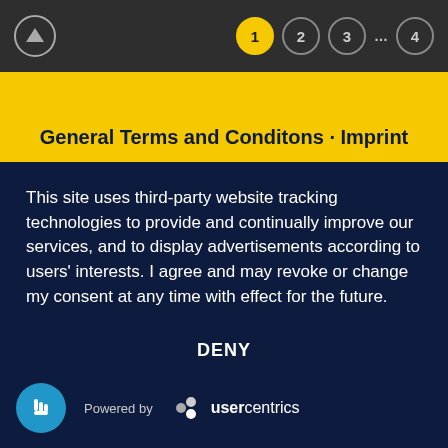Navigation bar with up arrow and page indicators: 1 (active), 2, 3, ..., 4
General Terms and Conditons · Imprint
This site uses third-party website tracking technologies to provide and continually improve our services, and to display advertisements according to users' interests. I agree and may revoke or change my consent at any time with effect for the future.
DENY
ACCEPT
MORE
Powered by usercentrics